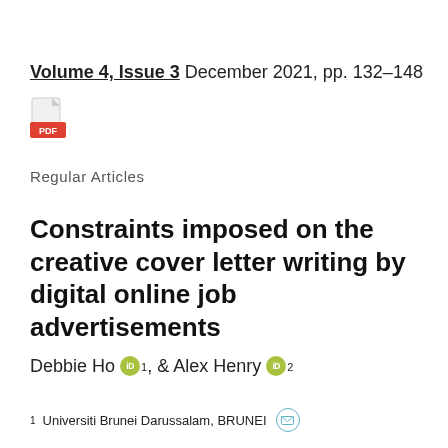Volume 4, Issue 3 December 2021, pp. 132–148
[Figure (other): PDF file icon with red PDF label]
Regular Articles
Constraints imposed on the creative cover letter writing by digital online job advertisements
Debbie Ho [ORCID]1, & Alex Henry [ORCID]2
1 Universiti Brunei Darussalam, BRUNEI [email icon]